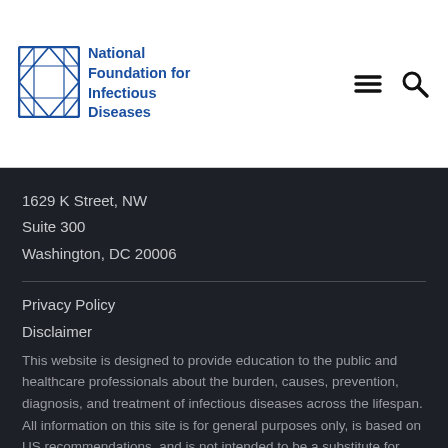[Figure (logo): National Foundation for Infectious Diseases logo with diamond/lattice icon in blue and organization name in blue text]
1629 K Street, NW
Suite 300
Washington, DC 20006
Privacy Policy
Disclaimer
This website is designed to provide education to the public and healthcare professionals about the burden, causes, prevention, diagnosis, and treatment of infectious diseases across the lifespan. All information on this site is for general purposes only, is based on US recommendations, and is not intended to be a substitute for professional medical advice.